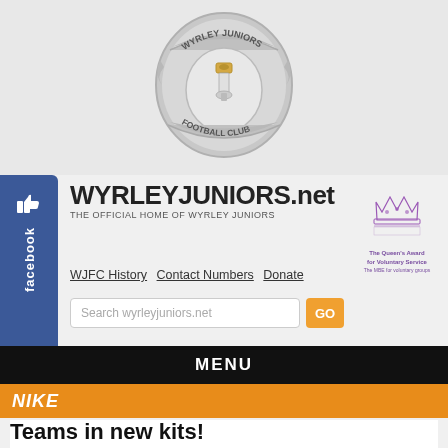[Figure (logo): Wyrley Juniors Football Club circular badge/crest with text 'WYRLEY JUNIORS' at top and 'FOOTBALL CLUB' at bottom, with a mining lamp in the center, silver/grey color scheme]
WYRLEYJUNIORS.net
THE OFFICIAL HOME OF WYRLEY JUNIORS
[Figure (logo): The Queen's Award for Voluntary Service logo - a crown with purple/violet text]
WJFC History  Contact Numbers  Donate
Search wyrleyjuniors.net
MENU
NIKE
Teams in new kits!
by Keith Hardy (Chairman) on Oct.05, 2021, under NIKE